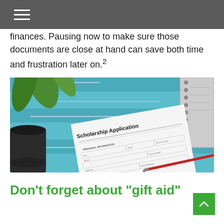finances. Pausing now to make sure those documents are close at hand can save both time and frustration later on.²
[Figure (photo): A scholarship application form on a teal painted wooden table with a pen resting on it, a coffee mug to the left, a plant in the background, and a spiral notebook to the right.]
Don't forget about "gift aid"